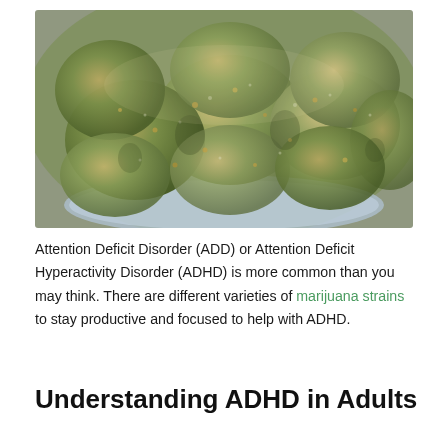[Figure (photo): Close-up photograph of cannabis/marijuana buds (green and brown flower clusters) arranged in a blue bowl, shot from above at a slight angle.]
Attention Deficit Disorder (ADD) or Attention Deficit Hyperactivity Disorder (ADHD) is more common than you may think. There are different varieties of marijuana strains to stay productive and focused to help with ADHD.
Understanding ADHD in Adults